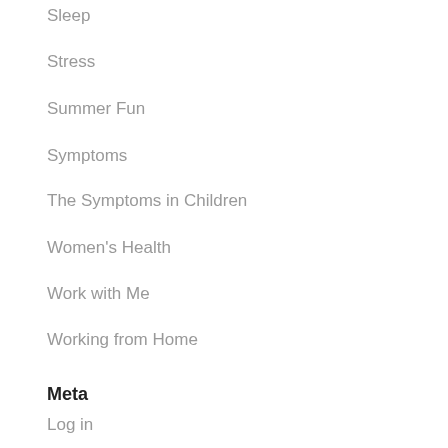Sleep
Stress
Summer Fun
Symptoms
The Symptoms in Children
Women's Health
Work with Me
Working from Home
Meta
Log in
Entries feed
Comments feed
WordPress.org